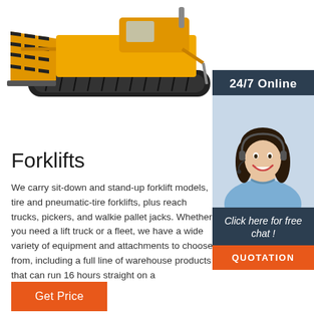[Figure (photo): Yellow bulldozer/crawler machine with black and yellow striped blade, viewed from the side on white background]
[Figure (photo): 24/7 Online support sidebar with smiling woman wearing headset on dark navy background, with 'Click here for free chat!' text and orange QUOTATION button]
Forklifts
We carry sit-down and stand-up forklift models, tire and pneumatic-tire forklifts, plus reach trucks, pickers, and walkie pallet jacks. Whether you need a lift truck or a fleet, we have a wide variety of equipment and attachments to choose from, including a full line of warehouse products that can run 16 hours straight on a
...
Get Price